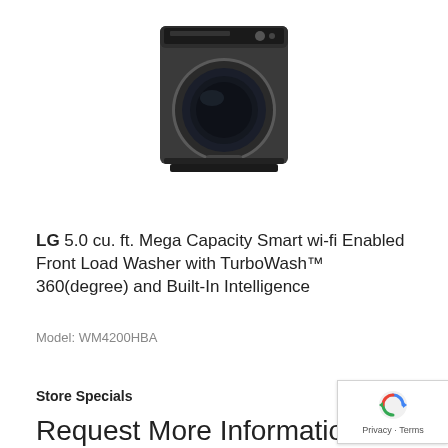[Figure (photo): LG front load washing machine in black/dark steel color, model WM4200HBA, front view showing circular door and control panel]
LG 5.0 cu. ft. Mega Capacity Smart wi-fi Enabled Front Load Washer with TurboWash™ 360(degree) and Built-In Intelligence
Model: WM4200HBA
Store Specials
Request More Information